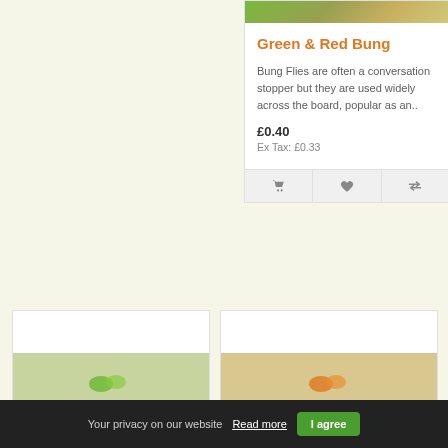[Figure (photo): Close-up photo of a Green & Red Bung fishing fly with hook on sandy background]
Green & Red Bung
Bung Flies are often a conversation stopper but they are used widely across the board, popular as an..
£0.40
Ex Tax: £0.33
[Figure (photo): Small product photo showing green bung flies]
[Figure (photo): Small product photo showing orange/red bung flies]
Your privacy on our website  Read more  I agree